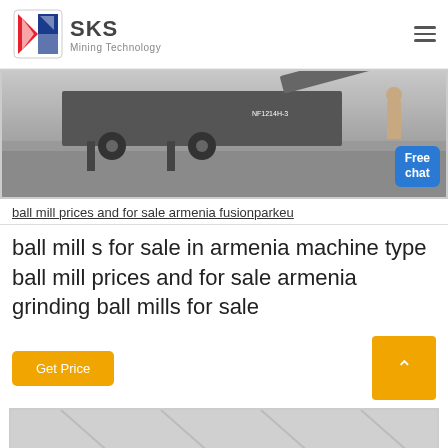SKS Mining Technology
[Figure (photo): Mining/crushing machine (mobile crusher) in an industrial hall with a woman standing beside it. Blue 'Free chat' badge in bottom-right corner.]
ball mill prices and for sale armenia fusionparkeu
ball mill s for sale in armenia machine type ball mill prices and for sale armenia grinding ball mills for sale
Get Price
[Figure (photo): Partial view of another industrial machine image at the bottom of the page.]